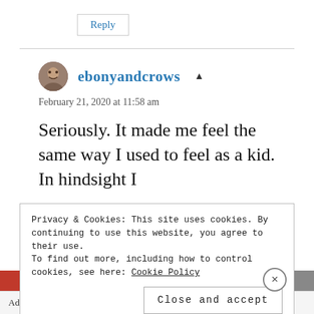Reply
ebonyandcrows
February 21, 2020 at 11:58 am
Seriously. It made me feel the same way I used to feel as a kid. In hindsight I
Privacy & Cookies: This site uses cookies. By continuing to use this website, you agree to their use.
To find out more, including how to control cookies, see here: Cookie Policy
Close and accept
Advertisements